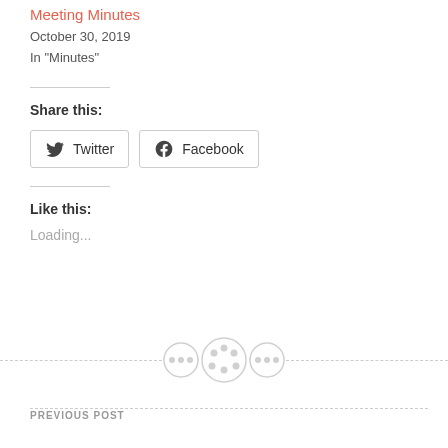October 2019 Board Meeting Minutes
October 30, 2019
In "Minutes"
Share this:
Twitter  Facebook
Like this:
Loading...
PREVIOUS POST